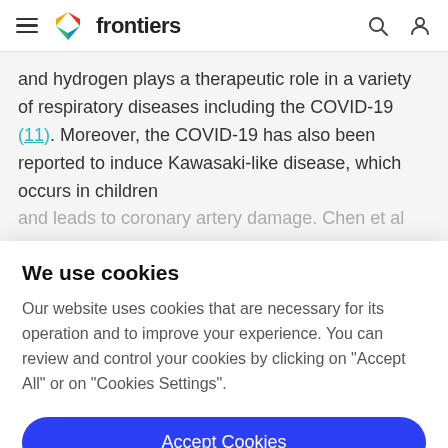frontiers
and hydrogen plays a therapeutic role in a variety of respiratory diseases including the COVID-19 (11). Moreover, the COVID-19 has also been reported to induce Kawasaki-like disease, which occurs in children and leads to coronary artery damage. Chen et al
We use cookies
Our website uses cookies that are necessary for its operation and to improve your experience. You can review and control your cookies by clicking on "Accept All" or on "Cookies Settings".
Accept Cookies
Cookies Settings